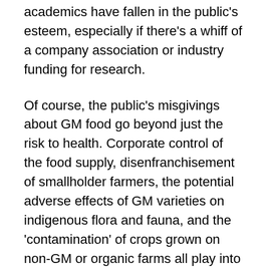academics have fallen in the public's esteem, especially if there's a whiff of a company association or industry funding for research.
Of course, the public's misgivings about GM food go beyond just the risk to health. Corporate control of the food supply, disenfranchisement of smallholder farmers, the potential adverse effects of GM varieties on indigenous flora and fauna, and the 'contamination' of crops grown on non-GM or organic farms all play into negative perceptions. And for better or worse, GM food is now inextricably linked in the public consciousness with Monsanto, which has seemingly vied with big tobacco as the poster child for corporate greed and evil.